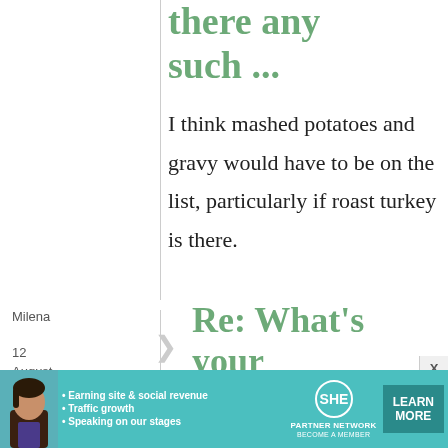there any such ...
I think mashed potatoes and gravy would have to be on the list, particularly if roast turkey is there.
Milena
12 August, 2011 -
Re: What's your
[Figure (infographic): SHE Partner Network advertisement banner with woman photo, bullet points about earning site & social revenue, traffic growth, speaking on stages, SHE logo, and Learn More button]